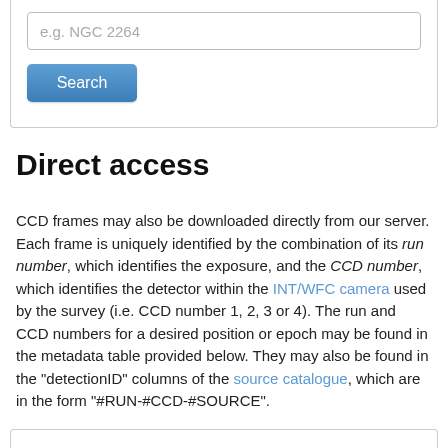[Figure (screenshot): Search form with text input field placeholder 'e.g. NGC 2264' and a blue Search button]
Direct access
CCD frames may also be downloaded directly from our server. Each frame is uniquely identified by the combination of its run number, which identifies the exposure, and the CCD number, which identifies the detector within the INT/WFC camera used by the survey (i.e. CCD number 1, 2, 3 or 4). The run and CCD numbers for a desired position or epoch may be found in the metadata table provided below. They may also be found in the "detectionID" columns of the source catalogue, which are in the form "#RUN-#CCD-#SOURCE".
When the numbers of a desired frame are known, the URL of the image is composed as follows: